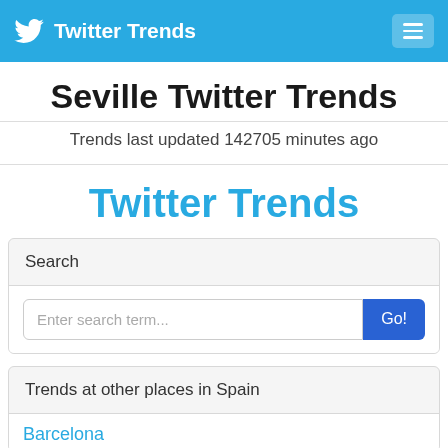Twitter Trends
Seville Twitter Trends
Trends last updated 142705 minutes ago
Twitter Trends
Search
Enter search term...
Trends at other places in Spain
Barcelona